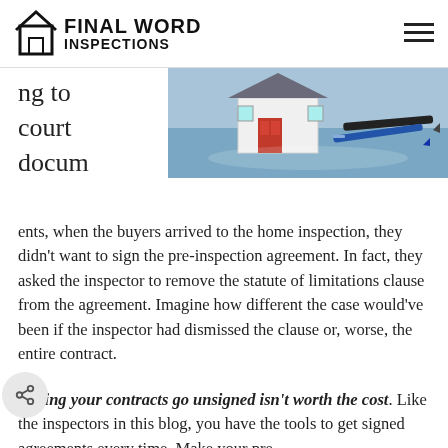FINAL WORD INSPECTIONS
[Figure (photo): Photo of a small model house with a red door next to a pen on a blue background, suggesting real estate or home inspection documents.]
ng to court documents, when the buyers arrived to the home inspection, they didn't want to sign the pre-inspection agreement. In fact, they asked the inspector to remove the statute of limitations clause from the agreement. Imagine how different the case would've been if the inspector had dismissed the clause or, worse, the entire contract.
Letting your contracts go unsigned isn't worth the cost. Like the inspectors in this blog, you have the tools to get signed agreements every time. Make your pre-